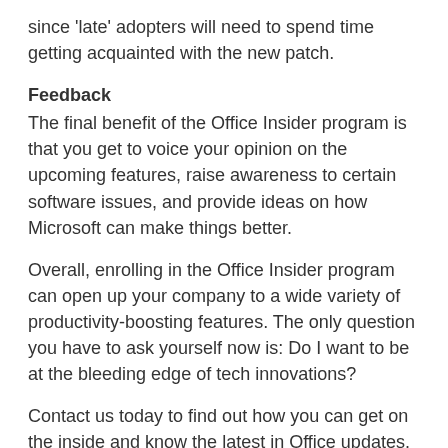since 'late' adopters will need to spend time getting acquainted with the new patch.
Feedback
The final benefit of the Office Insider program is that you get to voice your opinion on the upcoming features, raise awareness to certain software issues, and provide ideas on how Microsoft can make things better.
Overall, enrolling in the Office Insider program can open up your company to a wide variety of productivity-boosting features. The only question you have to ask yourself now is: Do I want to be at the bleeding edge of tech innovations?
Contact us today to find out how you can get on the inside and know the latest in Office updates.
Published with permission from TechAdvisory.org. Source.